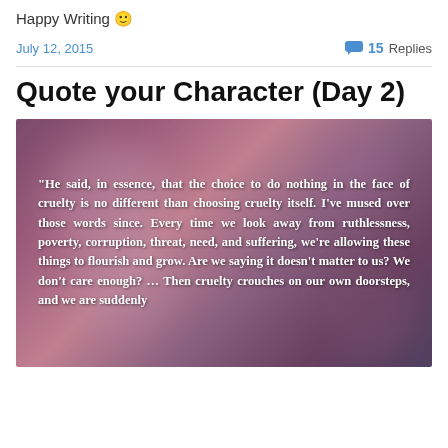Happy Writing 🙂
July 12, 2015
💬 15 Replies
Quote your Character (Day 2)
[Figure (photo): Dark purple/pink textured background with white bold quote text: "He said, in essence, that the choice to do nothing in the face of cruelty is no different than choosing cruelty itself. I've mused over those words since. Every time we look away from ruthlessness, poverty, corruption, threat, need, and suffering, we're allowing these things to flourish and grow. Are we saying it doesn't matter to us? We don't care enough? ... Then cruelty crouches on our own doorsteps, and we are suddenly"]